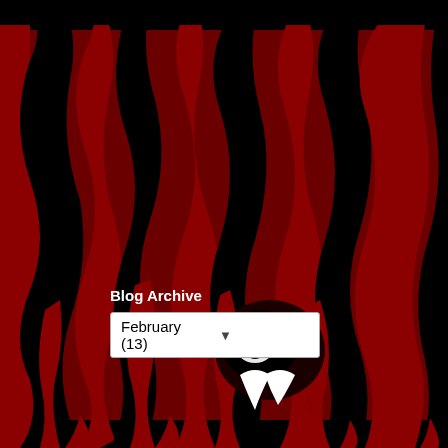[Figure (illustration): Dark gothic/horror themed background image with dark red and black tones, featuring abstract dripping shapes and eerie face-like forms that appear upside-down, resembling demonic or zombie-like figures]
Blog Archive
February (13)